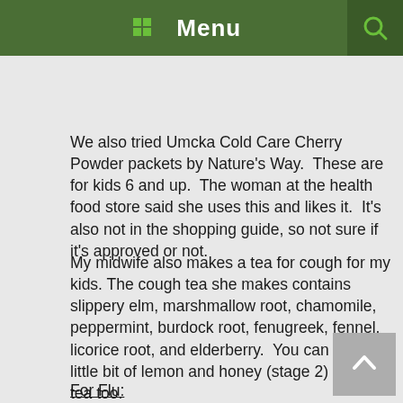Menu
We also tried Umcka Cold Care Cherry Powder packets by Nature's Way.  These are for kids 6 and up.  The woman at the health food store said she uses this and likes it.  It's also not in the shopping guide, so not sure if it's approved or not.
My midwife also makes a tea for cough for my kids. The cough tea she makes contains slippery elm, marshmallow root, chamomile, peppermint, burdock root, fenugreek, fennel, licorice root, and elderberry.  You can add a little bit of lemon and honey (stage 2) to your tea too.
For Flu: